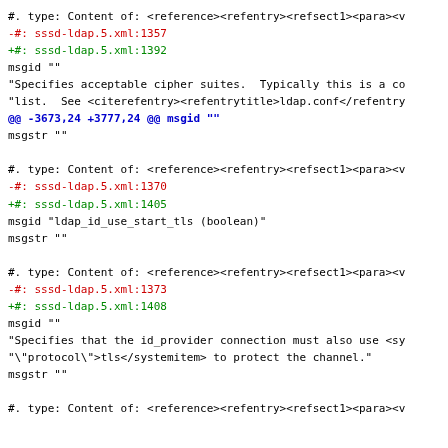#. type: Content of: <reference><refentry><refsect1><para><v
-#: sssd-ldap.5.xml:1357
+#: sssd-ldap.5.xml:1392
msgid ""
"Specifies acceptable cipher suites.  Typically this is a co
"list.  See <citerefentry><refentrytitle>ldap.conf</refentry
@@ -3673,24 +3777,24 @@ msgid ""
msgstr ""
#. type: Content of: <reference><refentry><refsect1><para><v
-#: sssd-ldap.5.xml:1370
+#: sssd-ldap.5.xml:1405
msgid "ldap_id_use_start_tls (boolean)"
msgstr ""
#. type: Content of: <reference><refentry><refsect1><para><v
-#: sssd-ldap.5.xml:1373
+#: sssd-ldap.5.xml:1408
msgid ""
"Specifies that the id_provider connection must also use <sy
"\"protocol\">tls</systemitem> to protect the channel."
msgstr ""
#. type: Content of: <reference><refentry><refsect1><para><v